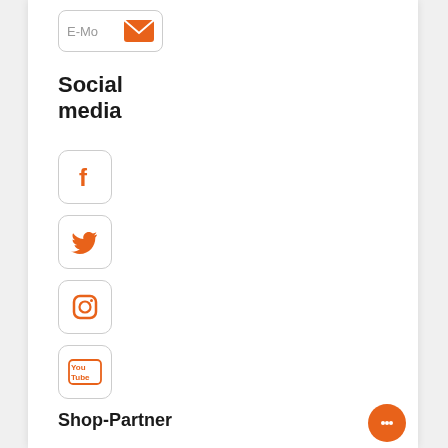[Figure (other): E-Mail button with orange envelope icon]
Social media
[Figure (logo): Facebook icon button (orange F on white, rounded border)]
[Figure (logo): Twitter icon button (orange bird on white, rounded border)]
[Figure (logo): Instagram icon button (orange camera on white, rounded border)]
[Figure (logo): YouTube icon button (orange YouTube logo on white, rounded border)]
Shop-Partner
[Figure (logo): Idealo Gelisteter Partner badge - circular blue badge with white text and orange idealo branding]